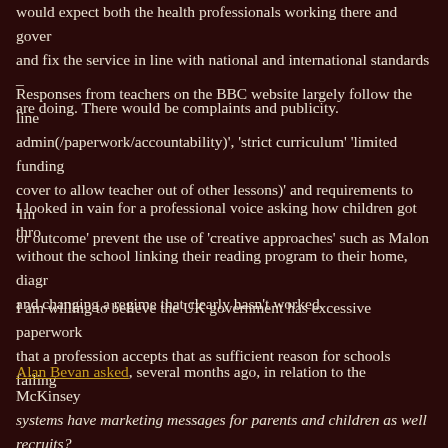would expect both the health professionals working there and gover and fix the service in line with national and international standards – are doing. There would be complaints and publicity.
Responses from teachers on the BBC website largely follow the line admin(/paperwork/accountability)', 'strict curriculum' 'limited funding cover to allow teacher out of other lessons)' and requirements to 'lin or outcome' prevent the use of 'creative approaches' such as Malon
I looked in vain for a professional voice asking how children got thro without the school linking their reading program to their home, diagr and changing a regime that clearly hasn't worked.
I am willing to believe the UK government has excessive paperwork that a profession accepts that as sufficient reason for schools failing
Alan Bevan asked, several months ago, in relation to the McKinsey systems have marketing messages for parents and children as well recruits?
All of us know schools that invest time and energy building a comm how kids learn and what it takes to maximise that learning; where fa uncles, doctors and nurses, businesses and clubs, understand wher heading and what can be done to support and expedite those; whe